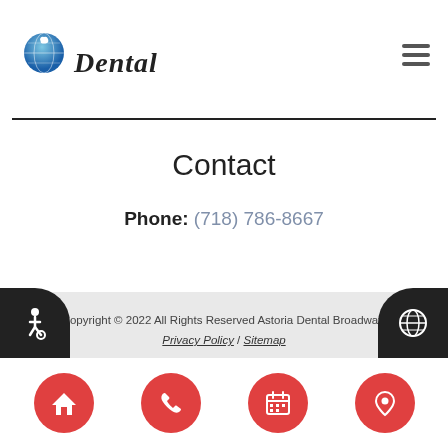[Figure (logo): Dental office logo with globe icon and cursive 'Dental' text]
Contact
Phone: (718) 786-8667
Copyright © 2022 All Rights Reserved Astoria Dental Broadway.
Privacy Policy / Sitemap
[Figure (logo): Yelp icon in black]
[Figure (illustration): Bottom navigation bar with four red circle buttons: home, phone, calendar, location pin]
[Figure (illustration): Bottom-left black corner with accessibility wheelchair icon; bottom-right black corner with globe icon]